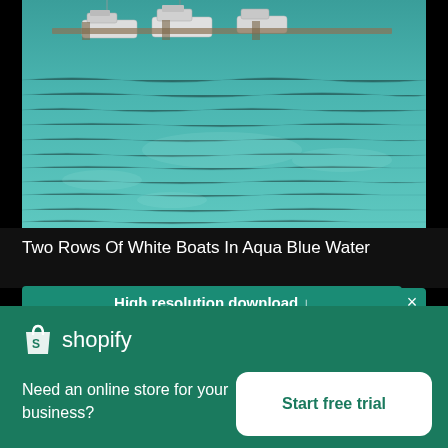[Figure (photo): Aerial view of two rows of white boats moored in aqua blue water, photographed from above showing the boats and rippling teal water surface.]
Two Rows Of White Boats In Aqua Blue Water
High resolution download ↓
[Figure (logo): Shopify logo: shopping bag icon followed by 'shopify' wordmark in white on green background]
Need an online store for your business?
Start free trial